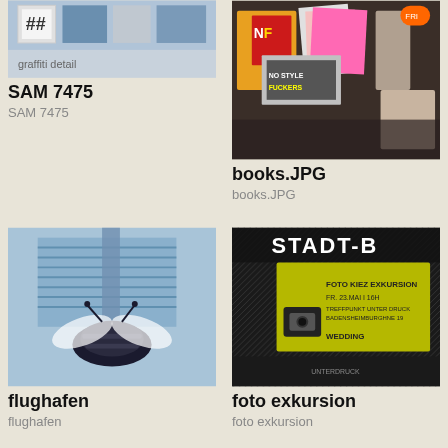[Figure (photo): Partial top view of a graffiti/street art piece, cropped at top]
SAM 7475
SAM 7475
[Figure (photo): A pile of fanzines and books including one that reads NO STYLE FUCKERS]
books.JPG
books.JPG
[Figure (photo): Blue toned image of a large bee mural on a building facade]
flughafen
flughafen
[Figure (photo): Dark poster with yellow rectangle, text FOTO KIEZ EXKURSION, STADT-BAD, WEDDING]
foto exkursion
foto exkursion